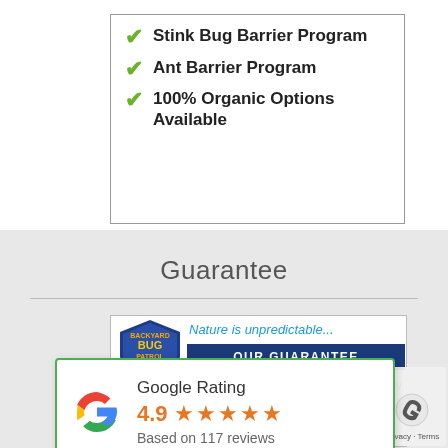Stink Bug Barrier Program
Ant Barrier Program
100% Organic Options Available
Guarantee
[Figure (logo): Backyard Bug Patrol badge logo with text 'Nature is unpredictable...' and 'Our Guarantee' banner]
customers on tracts, if at any larly scheduled e you have any sts, simply give us a call, and our trained team will treat your backyard free of charge.
Google Rating 4.9 Based on 117 reviews